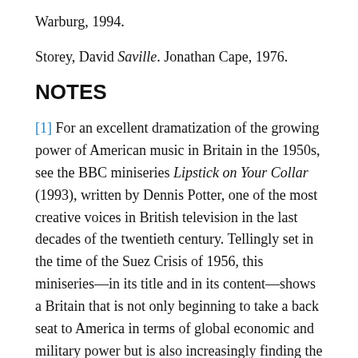Warburg, 1994.
Storey, David Saville. Jonathan Cape, 1976.
NOTES
[1] For an excellent dramatization of the growing power of American music in Britain in the 1950s, see the BBC miniseries Lipstick on Your Collar (1993), written by Dennis Potter, one of the most creative voices in British television in the last decades of the twentieth century. Tellingly set in the time of the Suez Crisis of 1956, this miniseries—in its title and in its content—shows a Britain that is not only beginning to take a back seat to America in terms of global economic and military power but is also increasingly finding the texture of its